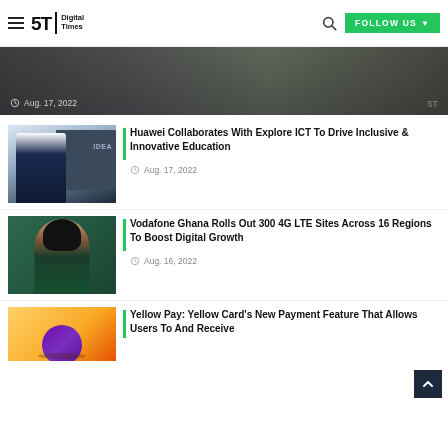5T Digital Times – FOLLOW US
[Figure (photo): Banner image of people at an event with date Aug. 17, 2022]
[Figure (photo): Man in suit presenting in front of chalkboard with IDEA written on it]
Huawei Collaborates With Explore ICT To Drive Inclusive & Innovative Education
Aug. 17, 2022
[Figure (photo): Woman in green top, portrait photo]
Vodafone Ghana Rolls Out 300 4G LTE Sites Across 16 Regions To Boost Digital Growth
Aug. 16, 2022
[Figure (photo): Yellow background with globe illustration]
Yellow Pay: Yellow Card's New Payment Feature That Allows Users To And Receive